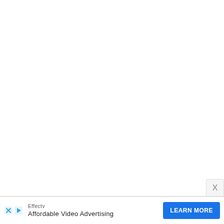[Figure (screenshot): Large white blank area representing a webpage or app content area]
[Figure (screenshot): Close button with X character in top-right corner, gray rounded box]
[Figure (screenshot): Advertisement banner at bottom: Effectv brand, Affordable Video Advertising text, LEARN MORE blue button, with X and play icon buttons]